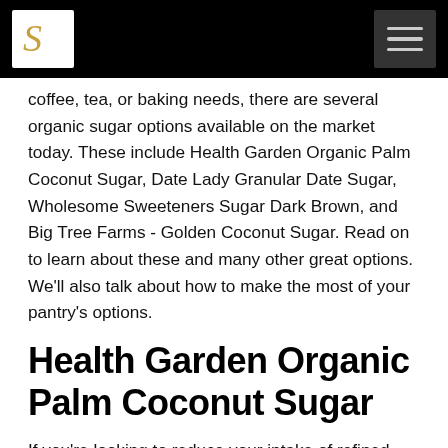[Logo and navigation header]
coffee, tea, or baking needs, there are several organic sugar options available on the market today. These include Health Garden Organic Palm Coconut Sugar, Date Lady Granular Date Sugar, Wholesome Sweeteners Sugar Dark Brown, and Big Tree Farms - Golden Coconut Sugar. Read on to learn about these and many other great options. We'll also talk about how to make the most of your pantry's options.
Health Garden Organic Palm Coconut Sugar
If you're looking to reduce your intake of refined sugar, you should consider using Health Garden Organic Palm Coconut Sugar. This brand boasts 100% organic ingredients, 16 essential amino acids, and a low glycemic